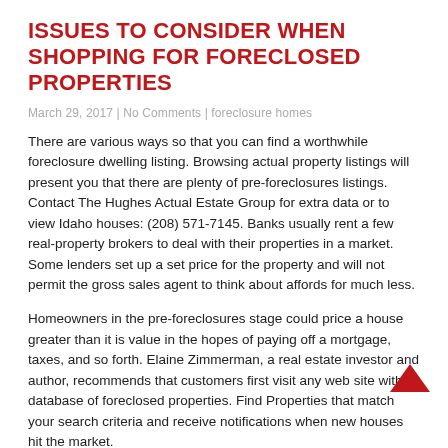ISSUES TO CONSIDER WHEN SHOPPING FOR FORECLOSED PROPERTIES
March 29, 2017 | No Comments | foreclosure homes
There are various ways so that you can find a worthwhile foreclosure dwelling listing. Browsing actual property listings will present you that there are plenty of pre-foreclosures listings. Contact The Hughes Actual Estate Group for extra data or to view Idaho houses: (208) 571-7145. Banks usually rent a few real-property brokers to deal with their properties in a market. Some lenders set up a set price for the property and will not permit the gross sales agent to think about affords for much less.
Homeowners in the pre-foreclosures stage could price a house greater than it is value in the hopes of paying off a mortgage, taxes, and so forth. Elaine Zimmerman, a real estate investor and author, recommends that customers first visit any web site with a database of foreclosed properties. Find Properties that match your search criteria and receive notifications when new houses hit the market.